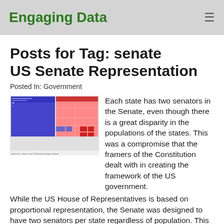Engaging Data
Posts for Tag: senate
US Senate Representation
Posted In: Government
[Figure (infographic): Treemap-style chart showing US Senate representation colored by party (blue for Democrat, red/pink for Republican), sized by population of states.]
Each state has two senators in the Senate, even though there is a great disparity in the populations of the states. This was a compromise that the framers of the Constitution dealt with in creating the framework of the US government. While the US House of Representatives is based on proportional representation, the Senate was designed to have two senators per state regardless of population. This leads to some interesting variations in the number of votes that